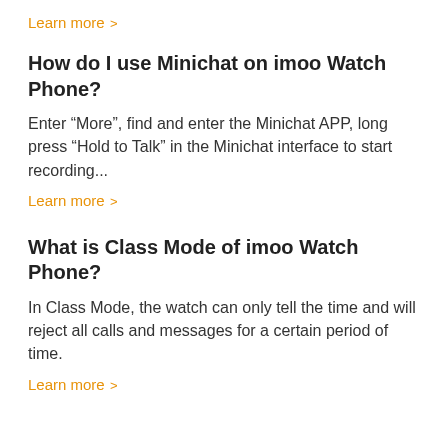Learn more >
How do I use Minichat on imoo Watch Phone?
Enter “More”, find and enter the Minichat APP, long press “Hold to Talk” in the Minichat interface to start recording...
Learn more >
What is Class Mode of imoo Watch Phone?
In Class Mode, the watch can only tell the time and will reject all calls and messages for a certain period of time.
Learn more >